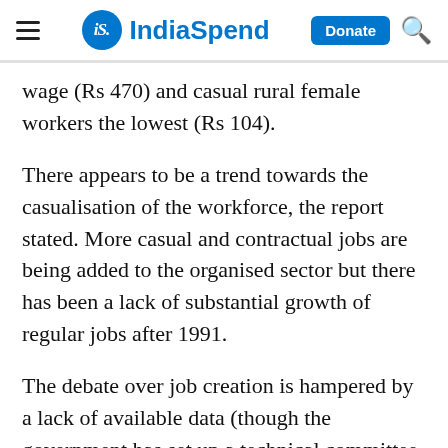IndiaSpend — navigation bar with hamburger menu, logo, Donate button, and search icon
wage (Rs 470) and casual rural female workers the lowest (Rs 104).
There appears to be a trend towards the casualisation of the workforce, the report stated. More casual and contractual jobs are being added to the organised sector but there has been a lack of substantial growth of regular jobs after 1991.
The debate over job creation is hampered by a lack of available data (though the government has set up a technical committee to improve